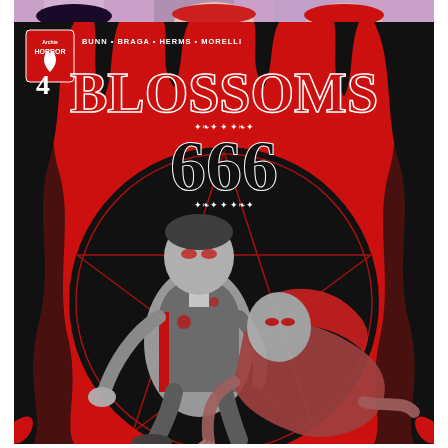[Figure (illustration): Top strip showing partial comic artwork with anime-style characters]
[Figure (illustration): Comic book cover for 'Blossoms 666 #4' published by Archie Horror. Credits: Bunn, Braga, Herms, Morelli. Red and black background with flames and a pentagram circle. Two figures (male and female) rendered in grayscale/red style are posed dramatically in the center. The title 'BLOSSOMS 666' is displayed prominently with decorative filigree. Issue number '4' appears in the top left corner alongside the Archie Horror logo.]